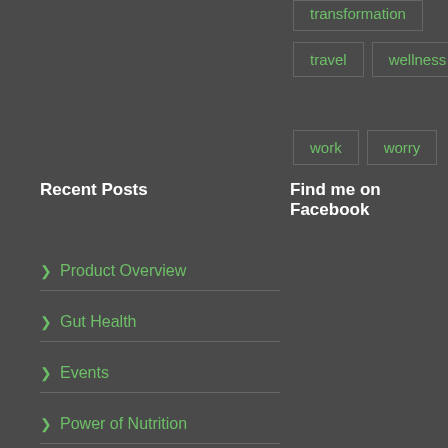transformation
travel
wellness
work
worry
Recent Posts
Find me on Facebook
Product Overview
Gut Health
Events
Power of Nutrition
New Software